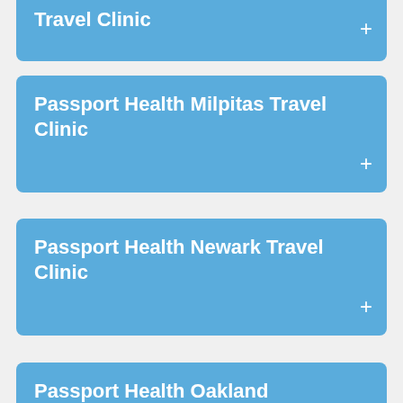Passport Health Menlo Park Travel Clinic
Passport Health Milpitas Travel Clinic
Passport Health Newark Travel Clinic
Passport Health Oakland Travel Clinic
(partial card at bottom)